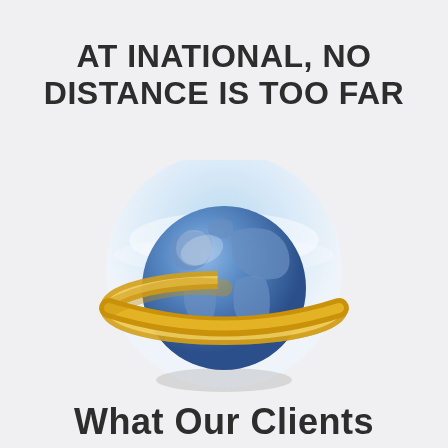AT INATIONAL, NO DISTANCE IS TOO FAR
[Figure (logo): Globe with golden ring/orbit band around it, set against a light blue circular background — iNational logo illustration]
What Our Clients